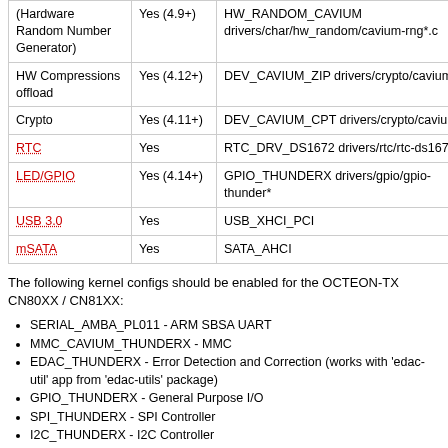| Feature | Supported | Config / Source |
| --- | --- | --- |
| (Hardware Random Number Generator) | Yes (4.9+) | HW_RANDOM_CAVIUM drivers/char/hw_random/cavium-rng*.c |
| HW Compressions offload | Yes (4.12+) | DEV_CAVIUM_ZIP drivers/crypto/cavium/zip. |
| Crypto | Yes (4.11+) | DEV_CAVIUM_CPT drivers/crypto/cavium |
| RTC | Yes | RTC_DRV_DS1672 drivers/rtc/rtc-ds1672.c |
| LED/GPIO | Yes (4.14+) | GPIO_THUNDERX drivers/gpio/gpio-thunder* |
| USB 3.0 | Yes | USB_XHCI_PCI |
| mSATA | Yes | SATA_AHCI |
The following kernel configs should be enabled for the OCTEON-TX CN80XX / CN81XX:
SERIAL_AMBA_PL011 - ARM SBSA UART
MMC_CAVIUM_THUNDERX - MMC
EDAC_THUNDERX - Error Detection and Correction (works with 'edac-util' app from 'edac-utils' package)
GPIO_THUNDERX - General Purpose I/O
SPI_THUNDERX - SPI Controller
I2C_THUNDERX - I2C Controller
THUNDERX_NIC_VF - NIC virtual function
THUNDERX_NIC_PF - NIC physical function
THUNDERX_NIC_BGX - Network Controller (selects MDIO_CAVIUM/MDIO_THUNDER)